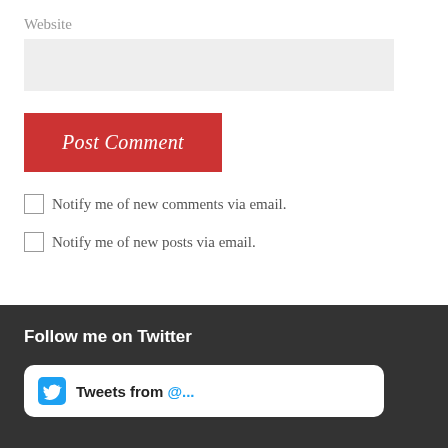Website
[Figure (other): Empty text input field for Website URL]
[Figure (other): Red 'Post Comment' button]
Notify me of new comments via email.
Notify me of new posts via email.
Follow me on Twitter
[Figure (other): White rounded rectangle widget area with Twitter icon and partial text 'Tweets from...']